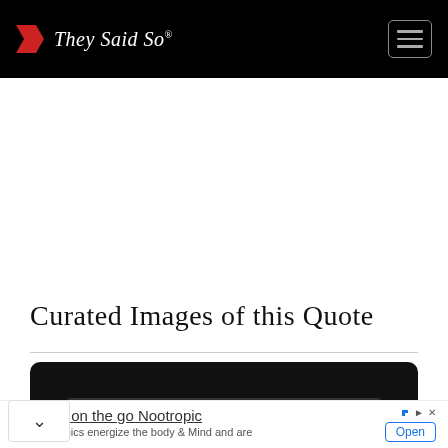They Said So®
Curated Images of this Quote
[Figure (screenshot): Dark carousel/slider bar with left and right navigation arrows on a black rounded rectangle background]
Ultimate on the go Nootropic
Our nootropics energize the body & Mind and are